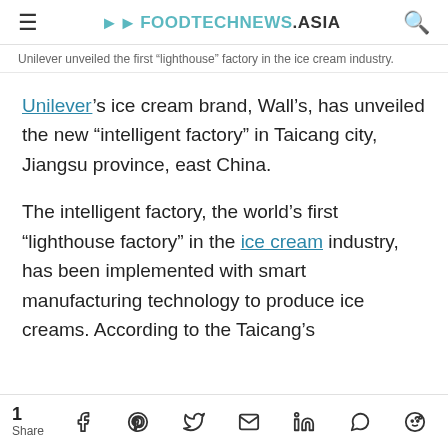FOODTECHNEWS.ASIA
Unilever unveiled the first “lighthouse” factory in the ice cream industry.
Unilever’s ice cream brand, Wall’s, has unveiled the new “intelligent factory” in Taicang city, Jiangsu province, east China.
The intelligent factory, the world’s first “lighthouse factory” in the ice cream industry, has been implemented with smart manufacturing technology to produce ice creams. According to the Taicang’s
1 Share